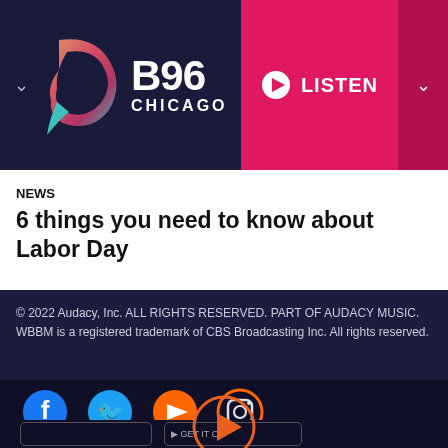[Figure (logo): B96 Chicago radio station logo with colorful speech bubble icon and white B96 CHICAGO text, on dark navy background with LISTEN button]
NEWS
6 things you need to know about Labor Day
© 2022 Audacy, Inc. ALL RIGHTS RESERVED. PART OF AUDACY MUSIC. WBBM is a registered trademark of CBS Broadcasting Inc. All rights reserved.
[Figure (infographic): Social media icons: Facebook, Twitter, YouTube, Instagram on dark navy background, plus app store buttons and an orange play button at bottom center]